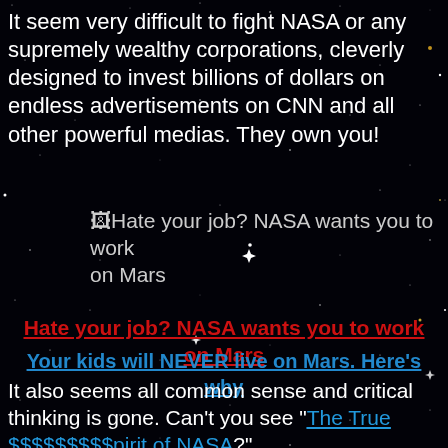It seem very difficult to fight NASA or any supremely wealthy corporations, cleverly designed to invest billions of dollars on endless advertisements on CNN and all other powerful medias. They own you!
[Figure (other): Broken image placeholder with alt text: Hate your job? NASA wants you to work on Mars]
Hate your job? NASA wants you to work on Mars
Your kids will NEVER live on Mars. Here's why
It also seems all common sense and critical thinking is gone. Can't you see "The True $$$$$$$$$pirit of NASA?"